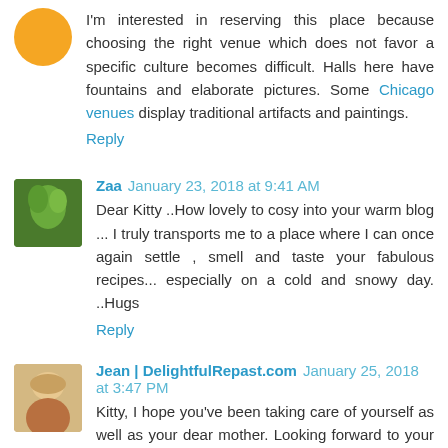I'm interested in reserving this place because choosing the right venue which does not favor a specific culture becomes difficult. Halls here have fountains and elaborate pictures. Some Chicago venues display traditional artifacts and paintings.
Reply
Zaa  January 23, 2018 at 9:41 AM
Dear Kitty ..How lovely to cosy into your warm blog ... I truly transports me to a place where I can once again settle , smell and taste your fabulous recipes... especially on a cold and snowy day. ..Hugs
Reply
Jean | DelightfulRepast.com  January 25, 2018 at 3:47 PM
Kitty, I hope you've been taking care of yourself as well as your dear mother. Looking forward to your next update.